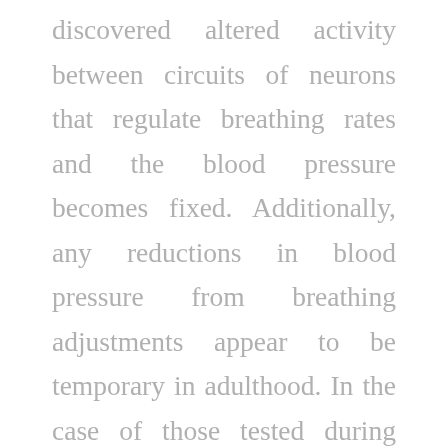discovered altered activity between circuits of neurons that regulate breathing rates and the blood pressure becomes fixed. Additionally, any reductions in blood pressure from breathing adjustments appear to be temporary in adulthood. In the case of those tested during adolescence, “By interrupting the activity between these two groups of neurons during adolescence, we were able to dramatically reduce development of high blood pressure in adulthood,” says Allen. Altered neural activity leads to increased fluctuations in blood pressure with every